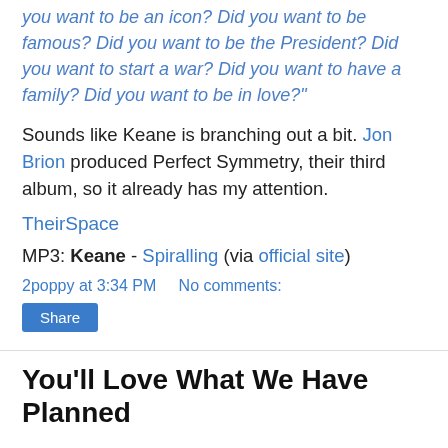you want to be an icon? Did you want to be famous? Did you want to be the President? Did you want to start a war? Did you want to have a family? Did you want to be in love?"
Sounds like Keane is branching out a bit. Jon Brion produced Perfect Symmetry, their third album, so it already has my attention.
TheirSpace
MP3: Keane - Spiralling (via official site)
2poppy at 3:34 PM    No comments:
Share
You'll Love What We Have Planned
Popshifter has quite an extensive interview with Roger Joseph Manning Jr. of Jellyfish, Imperial Drag, Moog